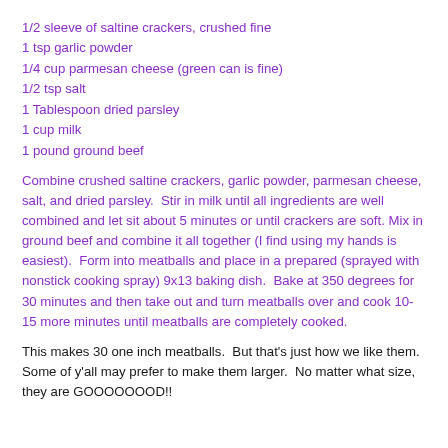1/2 sleeve of saltine crackers, crushed fine
1 tsp garlic powder
1/4 cup parmesan cheese (green can is fine)
1/2 tsp salt
1 Tablespoon dried parsley
1 cup milk
1 pound ground beef
Combine crushed saltine crackers, garlic powder, parmesan cheese, salt, and dried parsley.  Stir in milk until all ingredients are well combined and let sit about 5 minutes or until crackers are soft. Mix in ground beef and combine it all together (I find using my hands is easiest).  Form into meatballs and place in a prepared (sprayed with nonstick cooking spray) 9x13 baking dish.  Bake at 350 degrees for 30 minutes and then take out and turn meatballs over and cook 10-15 more minutes until meatballs are completely cooked.
This makes 30 one inch meatballs.  But that's just how we like them.  Some of y'all may prefer to make them larger.  No matter what size, they are GOOOOOOOD!!